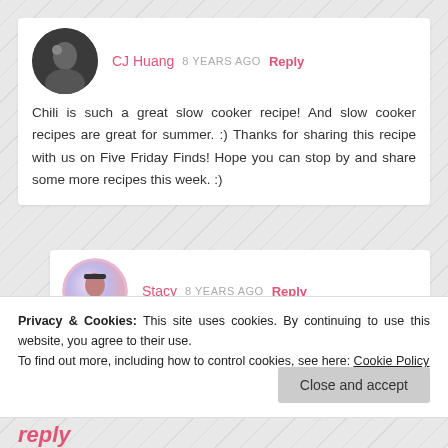CJ Huang  8 YEARS AGO  Reply
Chili is such a great slow cooker recipe! And slow cooker recipes are great for summer. :) Thanks for sharing this recipe with us on Five Friday Finds! Hope you can stop by and share some more recipes this week. :)
Stacy  8 YEARS AGO  Reply
Hi CJ.. this chili is thick and hearty! Perfect to come into after a hard playing in the pool :D
Privacy & Cookies: This site uses cookies. By continuing to use this website, you agree to their use.
To find out more, including how to control cookies, see here: Cookie Policy
Close and accept
reply